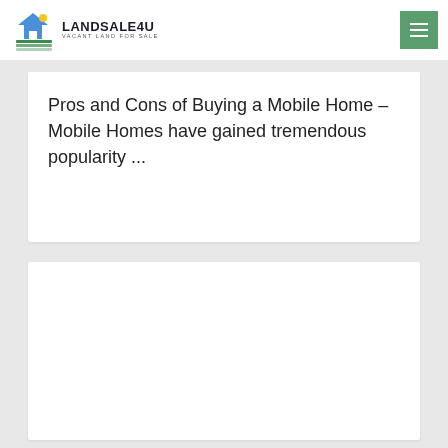LANDSALE4U — VACANT LAND FOR SALE
Pros and Cons of Buying a Mobile Home – Mobile Homes have gained tremendous popularity ...
[Figure (other): Empty white card placeholder area below the article title card]